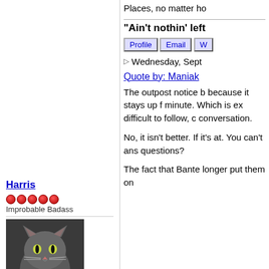Places, no matter ho
"Ain't nothin' left
Profile  Email  W
Harris
Improbable Badass
[Figure (photo): Gray cat looking upward, dark background]
Status: offline
FORUM USER
Registered: 11/24/09
Posts: 456
Wednesday, Sept
Quote by: Maniak
The outpost notice b because it stays up f minute. Which is ex difficult to follow, c conversation.
No, it isn't better. If it's at. You can't ans questions?
The fact that Bante longer put them on